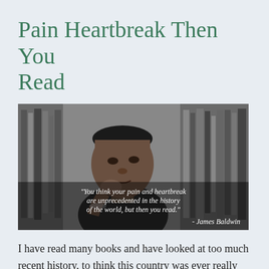Pain Heartbreak Then You Read
[Figure (photo): Black and white photograph of James Baldwin sitting in front of a bookshelf, resting his chin on his hand, with a quote overlaid: 'You think your pain and heartbreak are unprecedented in the history of the world, but then you read.' - James Baldwin]
I have read many books and have looked at too much recent history, to think this country was ever really great.